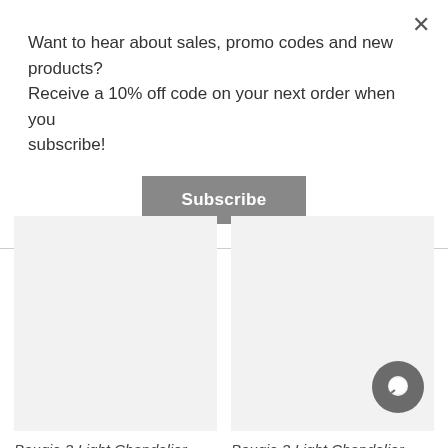Want to hear about sales, promo codes and new products? Receive a 10% off code on your next order when you subscribe!
Subscribe
[Figure (other): Product image placeholder (light gray rectangle) for Bougie 3 Light Chandelier]
Bougie 3 Light Chandelier
[Figure (other): Product image placeholder (light gray rectangle) for Bougie 3 Light Chandelier, with chat bubble icon in bottom right]
Bougie 3 Light Chandelier